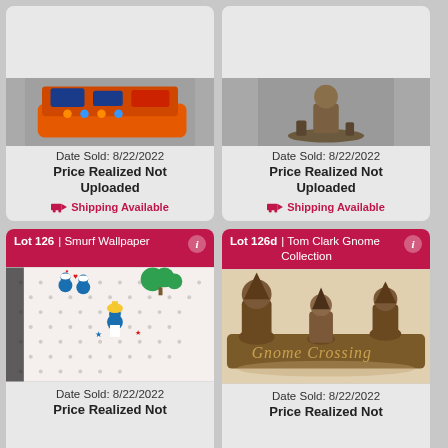[Figure (photo): Partial view of lot card showing Nerf gun set in orange tray]
Date Sold: 8/22/2022
Price Realized Not Uploaded
Shipping Available
[Figure (photo): Partial view of lot card showing a small figurine/statue]
Date Sold: 8/22/2022
Price Realized Not Uploaded
Shipping Available
Lot 126 | Smurf Wallpaper
[Figure (photo): Smurf wallpaper with Smurf characters printed on white dotted background]
Date Sold: 8/22/2022
Price Realized Not
Lot 126d | Tom Clark Gnome Collection
[Figure (photo): Tom Clark Gnome Collection figurines on a Gnome Crossing sign]
Date Sold: 8/22/2022
Price Realized Not